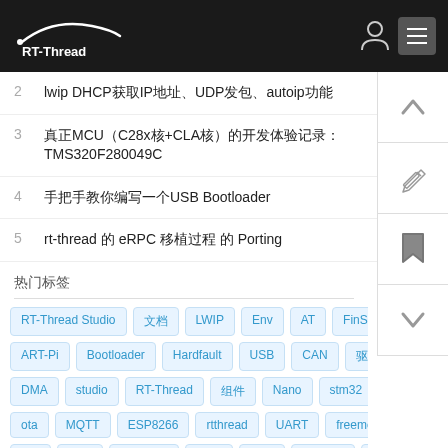RT-Thread
2  lwip DHCP获取IP地址、UDP发包、autoip功能
3  真正MCU（C28x核+CLA核）的开发体验记录：TMS320F280049C
4  手把手教你编写一个USB Bootloader
5  rt-thread 的 eRPC 移植过程 的 Porting
热门标签
RT-Thread Studio  文档  LWIP  Env  AT  FinSH  SPI  ART-Pi  Bootloader  Hardfault  USB  CAN  驱动开发  DMA  studio  RT-Thread  组件  Nano  stm32  SCons  ota  MQTT  ESP8266  rtthread  UART  freemodbus  I2C  RTC  线程管理  flash  内存  cubemx  W5500  FAL  BSP  rt-smart  rtt  PWM  AB32VG1  ADC  调试